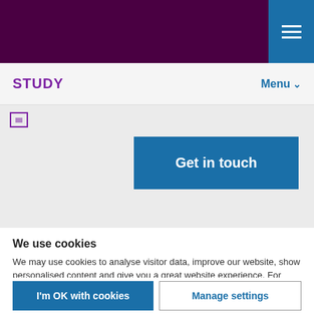[Figure (screenshot): Dark purple top navigation bar with blue hamburger menu icon in top right corner]
STUDY   Menu
[Figure (screenshot): Grey card area with envelope icon and Get in touch blue button]
We use cookies
We may use cookies to analyse visitor data, improve our website, show personalised content and give you a great website experience. For more information about cookies on our site and to tailor the cookies we collect, select ‘Manage settings’.
I'm OK with cookies
Manage settings